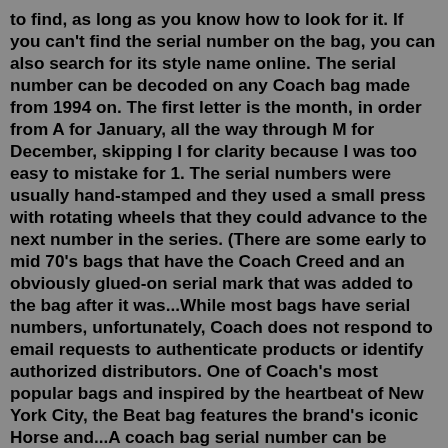to find, as long as you know how to look for it. If you can't find the serial number on the bag, you can also search for its style name online. The serial number can be decoded on any Coach bag made from 1994 on. The first letter is the month, in order from A for January, all the way through M for December, skipping I for clarity because I was too easy to mistake for 1. The serial numbers were usually hand-stamped and they used a small press with rotating wheels that they could advance to the next number in the series. (There are some early to mid 70's bags that have the Coach Creed and an obviously glued-on serial mark that was added to the bag after it was...While most bags have serial numbers, unfortunately, Coach does not respond to email requests to authenticate products or identify authorized distributors. One of Coach's most popular bags and inspired by the heartbeat of New York City, the Beat bag features the brand's iconic Horse and...A coach bag serial number can be easily verified with the help of an internet search or by reference. This